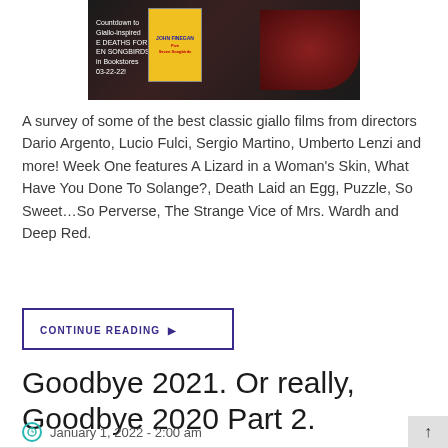[Figure (photo): A dark promotional image showing a book cover with yellow background and red text, overlaid on a dark background with red lips visible on the right side. Text on image reads: Countdown to Giallo-inspired DEATHS FOR SONGBIRDS in Bookstores 03-22-22!]
A survey of some of the best classic giallo films from directors Dario Argento, Lucio Fulci, Sergio Martino, Umberto Lenzi and more! Week One features A Lizard in a Woman's Skin, What Have You Done To Solange?, Death Laid an Egg, Puzzle, So Sweet…So Perverse, The Strange Vice of Mrs. Wardh and Deep Red.
CONTINUE READING ▶
Goodbye 2021. Or really, Goodbye 2020 Part 2.
January 1, 2022 - 2:00 am